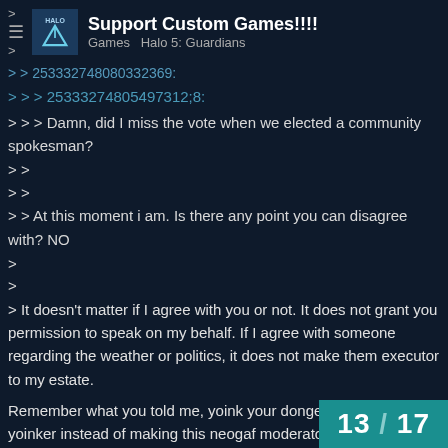Support Custom Games!!!! Games Halo 5: Guardians
> 253332748080332369:
> > > 2533327480549731 2;8:
> > > Damn, did I miss the vote when we elected a community spokesman?
> >
> >
> > At this moment i am. Is there any point you can disagree with? NO
>
>
> It doesn't matter if I agree with you or not. It does not grant you permission to speak on my behalf. If I agree with someone regarding the weather or politics, it does not make them executor to my estate.
Remember what you told me, yoink your donger out of your yoinker instead of making this neogaf moderator statement.
I want custom features, but we'll see if PAX sh...